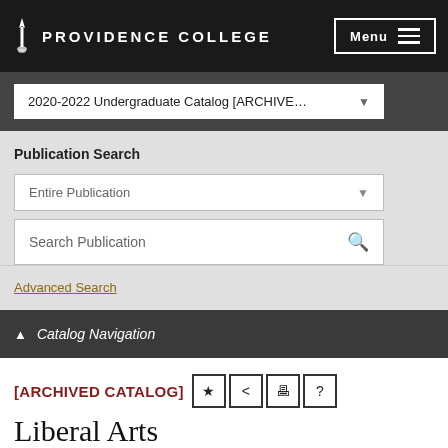PROVIDENCE COLLEGE
2020-2022 Undergraduate Catalog [ARCHIVE…
Publication Search
Entire Publication
Search Publication
Advanced Search
Catalog Navigation
[ARCHIVED CATALOG]
Liberal Arts